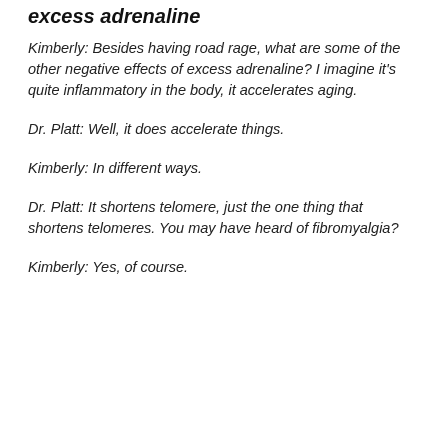excess adrenaline
Kimberly: Besides having road rage, what are some of the other negative effects of excess adrenaline? I imagine it's quite inflammatory in the body, it accelerates aging.
Dr. Platt: Well, it does accelerate things.
Kimberly: In different ways.
Dr. Platt: It shortens telomere, just the one thing that shortens telomeres. You may have heard of fibromyalgia?
Kimberly: Yes, of course.